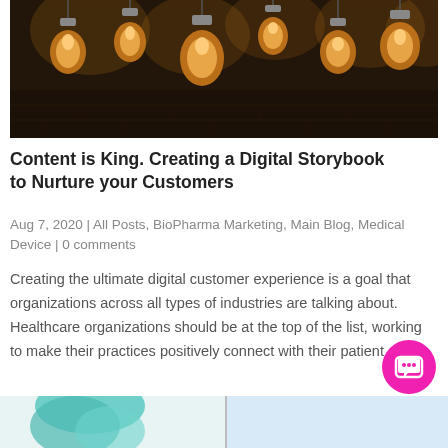[Figure (photo): Hanging Edison-style filament light bulbs against a dark brick wall background]
Content is King. Creating a Digital Storybook to Nurture your Customers
Aug 7, 2020 | All Posts, BioPharma Marketing, Main Blog, Medical Device | 0 comments
Creating the ultimate digital customer experience is a goal that organizations across all types of industries are talking about. Healthcare organizations should be at the top of the list, working to make their practices positively connect with their patient…
[Figure (photo): Partial view of bottom image showing a person with teal/green hair on the left side]